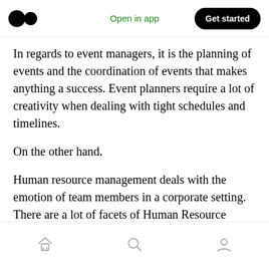Open in app | Get started
In regards to event managers, it is the planning of events and the coordination of events that makes anything a success. Event planners require a lot of creativity when dealing with tight schedules and timelines.
On the other hand.
Human resource management deals with the emotion of team members in a corporate setting. There are a lot of facets of Human Resource Management that have to deal with emotions.
Home | Search | Profile